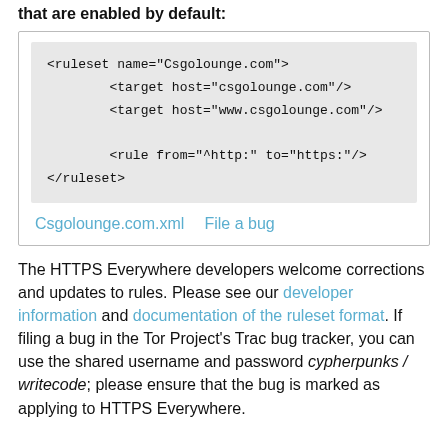that are enabled by default:
[Figure (screenshot): Code box showing XML ruleset for Csgolounge.com with ruleset name, target hosts, and rule elements, plus links to Csgolounge.com.xml and File a bug]
The HTTPS Everywhere developers welcome corrections and updates to rules. Please see our developer information and documentation of the ruleset format. If filing a bug in the Tor Project's Trac bug tracker, you can use the shared username and password cypherpunks / writecode; please ensure that the bug is marked as applying to HTTPS Everywhere.